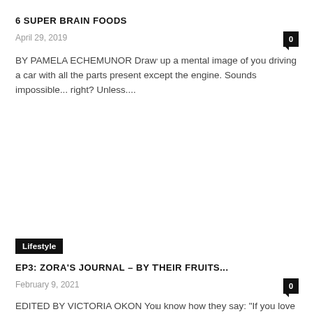6 SUPER BRAIN FOODS
April 29, 2019
0
BY PAMELA ECHEMUNOR Draw up a mental image of you driving a car with all the parts present except the engine. Sounds impossible... right? Unless....
Lifestyle
EP3: ZORA'S JOURNAL – BY THEIR FRUITS...
February 9, 2021
0
EDITED BY VICTORIA OKON You know how they say: "If you love